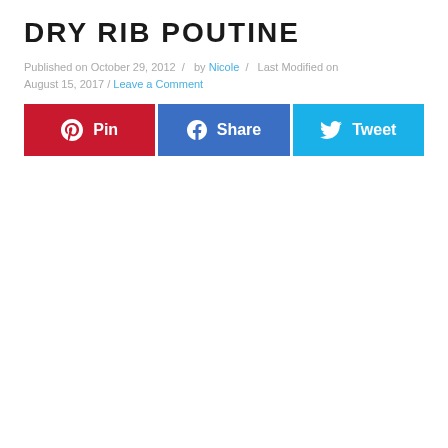DRY RIB POUTINE
Published on October 29, 2012  /  by Nicole  /  Last Modified on August 15, 2017 / Leave a Comment
[Figure (infographic): Three social sharing buttons side by side: Pin (red, Pinterest icon), Share (blue, Facebook icon), Tweet (cyan, Twitter bird icon)]